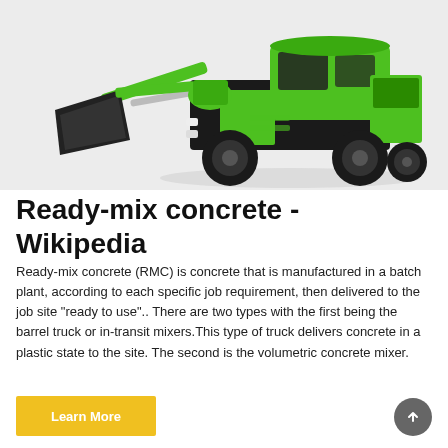[Figure (photo): A green volumetric concrete mixer / ready-mix concrete truck with a large front bucket attachment, photographed on a white/light grey background.]
Ready-mix concrete - Wikipedia
Ready-mix concrete (RMC) is concrete that is manufactured in a batch plant, according to each specific job requirement, then delivered to the job site "ready to use".. There are two types with the first being the barrel truck or in-transit mixers.This type of truck delivers concrete in a plastic state to the site. The second is the volumetric concrete mixer.
Learn More